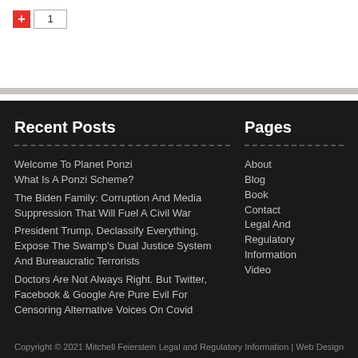[Figure (screenshot): Top white section with a red plus button and number input showing '1']
Recent Posts
Welcome To Planet Ponzi
What Is A Ponzi Scheme?
The Biden Family: Corruption And Media Suppression That Will Fuel A Civil War
President Trump, Declassify Everything, Expose The Swamp's Dual Justice System And Bureaucratic Terrorists
Doctors Are Not Always Right. But Twitter, Facebook & Google Are Pure Evil For Censoring Alternative Voices On Covid
Pages
About
Blog
Book
Contact
Legal And Regulatory Information
Video
Copyright © 2021 Mitchell Feierstein   Legal and Regulatory Information | Web Design